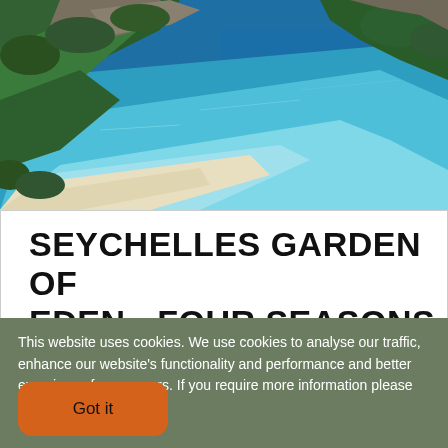[Figure (photo): Aerial/elevated view of a tropical beach cove with turquoise water, white sandy beach, and lush green hillside with granite rocks — Seychelles landscape.]
SEYCHELLES GARDEN OF EDEN - FOUR SEASONS
This website uses cookies. We use cookies to analyse our traffic, enhance our website's functionality and performance and better experience for our users. If you require more information please view our cookie policy
Got it